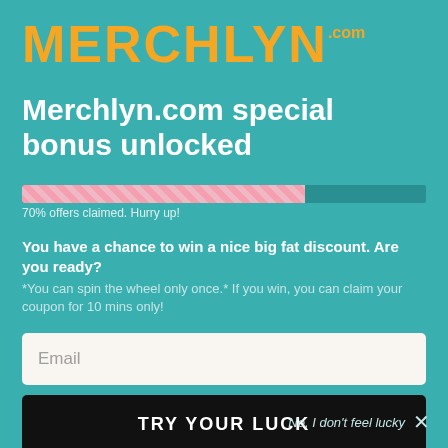[Figure (logo): Merchlyn.com logo in orange bold uppercase text with '.com' superscript]
Merchlyn.com special bonus unlocked
[Figure (infographic): Progress bar showing 70% filled with pink diagonal stripes, remaining 30% in dark teal]
70% offers claimed. Hurry up!
You have a chance to win a nice big fat discount. Are you ready?
*You can spin the wheel only once.* If you win, you can claim your coupon for 10 mins only!
Email
TRY YOUR LUCK
No, I don't feel lucky